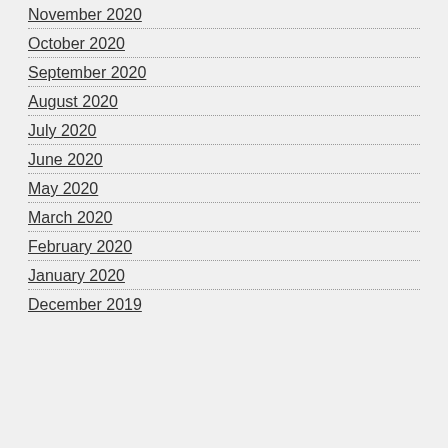November 2020
October 2020
September 2020
August 2020
July 2020
June 2020
May 2020
March 2020
February 2020
January 2020
December 2019